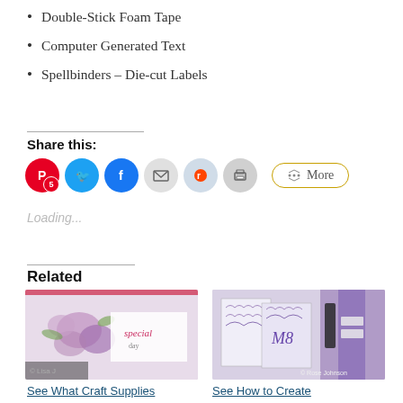Double-Stick Foam Tape
Computer Generated Text
Spellbinders – Die-cut Labels
Share this:
Loading...
Related
[Figure (photo): Craft card with purple flowers and 'it's your special day' text on white background]
See What Craft Supplies
[Figure (photo): Purple stenciled craft cards with decorative lace pattern, bottles in background with copyright Rose Johnson]
See How to Create